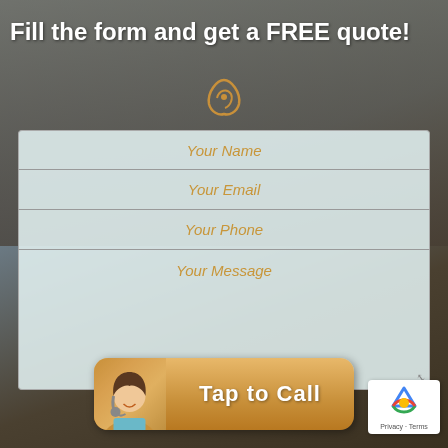Fill the form and get a FREE quote!
[Figure (infographic): Contact form with fields for Name, Email, Phone, Message, a Tap to Call button with a customer service representative photo, and a reCAPTCHA badge]
Your Name
Your Email
Your Phone
Your Message
Tap to Call
Privacy · Terms